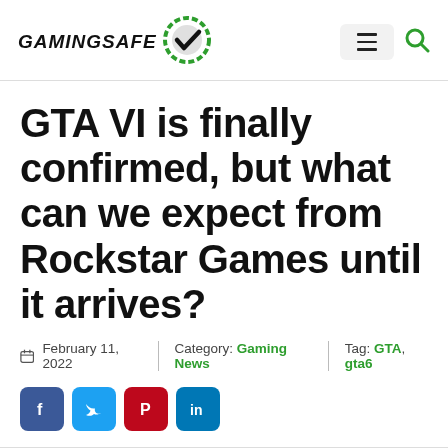GamingSafe
GTA VI is finally confirmed, but what can we expect from Rockstar Games until it arrives?
February 11, 2022  Category: Gaming News  Tag: GTA, gta6
[Figure (other): Social share buttons: Facebook, Twitter, Pinterest, LinkedIn]